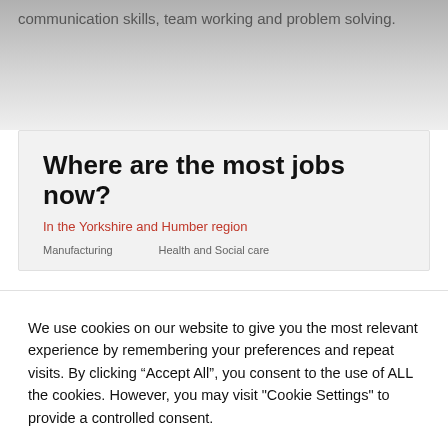communication skills, team working and problem solving.
Where are the most jobs now?
In the Yorkshire and Humber region
Manufacturing    Health and Social care
We use cookies on our website to give you the most relevant experience by remembering your preferences and repeat visits. By clicking “Accept All”, you consent to the use of ALL the cookies. However, you may visit "Cookie Settings" to provide a controlled consent.
Cookie settings
Accept All